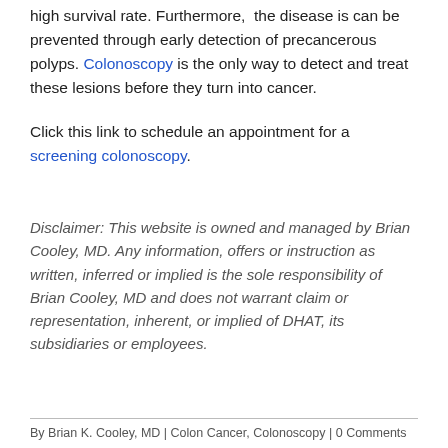high survival rate. Furthermore, the disease is can be prevented through early detection of precancerous polyps. Colonoscopy is the only way to detect and treat these lesions before they turn into cancer.
Click this link to schedule an appointment for a screening colonoscopy.
Disclaimer: This website is owned and managed by Brian Cooley, MD. Any information, offers or instruction as written, inferred or implied is the sole responsibility of Brian Cooley, MD and does not warrant claim or representation, inherent, or implied of DHAT, its subsidiaries or employees.
By Brian K. Cooley, MD | Colon Cancer, Colonoscopy | 0 Comments